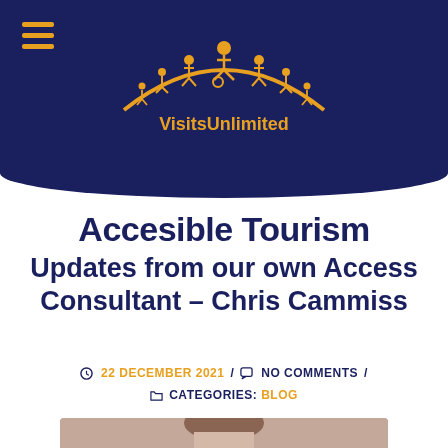[Figure (logo): VisitsUnlimited logo — dark navy background with orange arc and golden figures of people including one in a wheelchair, with the text 'VisitsUnlimited' in gold/orange below the arc.]
Accesible Tourism
Updates from our own Access Consultant – Chris Cammiss
22 DECEMBER 2021 / NO COMMENTS / CATEGORIES: BLOG
[Figure (photo): Partial photo of a person (woman with brown hair) visible at the bottom of the page, appearing to be in a video call or indoor setting.]